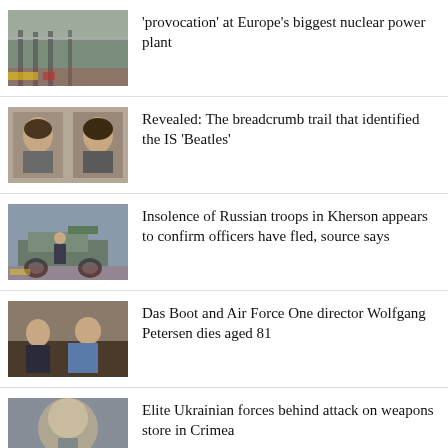[Figure (photo): News thumbnail image related to nuclear power plant story]
'provocation' at Europe's biggest nuclear power plant
[Figure (photo): Two men's mugshot photos related to IS Beatles story]
Revealed: The breadcrumb trail that identified the IS 'Beatles'
[Figure (photo): Military vehicle in Kherson]
Insolence of Russian troops in Kherson appears to confirm officers have fled, source says
[Figure (photo): Wolfgang Petersen photo]
Das Boot and Air Force One director Wolfgang Petersen dies aged 81
[Figure (photo): Explosion in Crimea]
Elite Ukrainian forces behind attack on weapons store in Crimea
[Figure (photo): Image related to girls education story]
'Don't use restrictions on girls' education